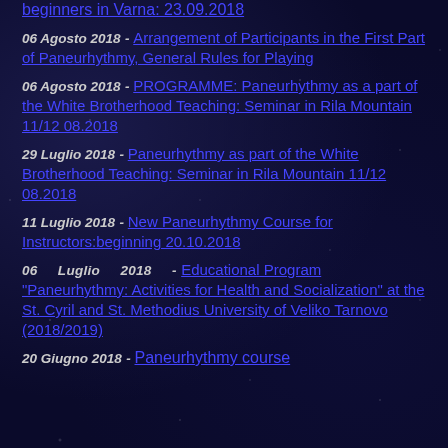beginners in Varna: 23.09.2018
06 Agosto 2018 - Arrangement of Participants in the First Part of Paneurhythmy, General Rules for Playing
06 Agosto 2018 - PROGRAMME: Paneurhythmy as a part of the White Brotherhood Teaching: Seminar in Rila Mountain 11/12 08.2018
29 Luglio 2018 - Paneurhythmy as part of the White Brotherhood Teaching: Seminar in Rila Mountain 11/12 08.2018
11 Luglio 2018 - New Paneurhythmy Course for Instructors:beginning 20.10.2018
06 Luglio 2018 - Educational Program "Paneurhythmy: Activities for Health and Socialization" at the St. Cyril and St. Methodius University of Veliko Tarnovo (2018/2019)
20 Giugno 2018 - Paneurhythmy course